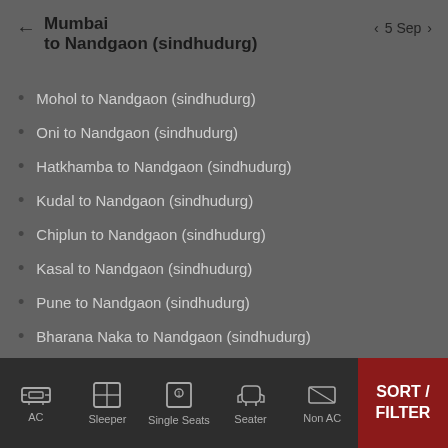Mumbai
to Nandgaon (sindhudurg)
5 Sep
Mohol to Nandgaon (sindhudurg)
Oni to Nandgaon (sindhudurg)
Hatkhamba to Nandgaon (sindhudurg)
Kudal to Nandgaon (sindhudurg)
Chiplun to Nandgaon (sindhudurg)
Kasal to Nandgaon (sindhudurg)
Pune to Nandgaon (sindhudurg)
Bharana Naka to Nandgaon (sindhudurg)
Pali (Ratnagiri) to Nandgaon (sindhudurg)
more >>
AC  Sleeper  Single Seats  Seater  Non AC  SORT / FILTER